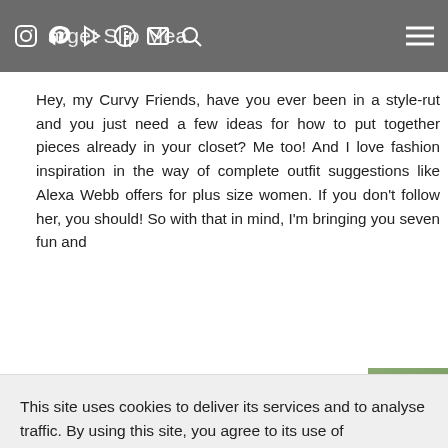Target Slip Mea...
Hey, my Curvy Friends, have you ever been in a style-rut and you just need a few ideas for how to put together pieces already in your closet? Me too! And I love fashion inspiration in the way of complete outfit suggestions like Alexa Webb offers for plus size women. If you don't follow her, you should! So with that in mind, I'm bringing you seven fun and [partially obscured] ...ress. [partially obscured] ...oday,
This site uses cookies to deliver its services and to analyse traffic. By using this site, you agree to its use of cookies. Learn more
OK
[Figure (photo): Bottom portion of a photo showing a person outdoors, partially visible]